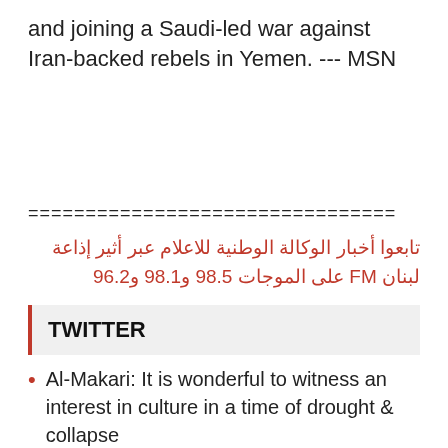and joining a Saudi-led war against Iran-backed rebels in Yemen. --- MSN
================================
تابعوا أخبار الوكالة الوطنية للاعلام عبر أثير إذاعة لبنان FM على الموجات 98.5 و98.1 و96.2
TWITTER
Al-Makari: It is wonderful to witness an interest in culture in a time of drought & collapse